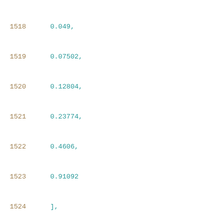1518    0.049,
1519    0.07502,
1520    0.12804,
1521    0.23774,
1522    0.4606,
1523    0.91092
1524    ],
1525    [
1526    0.0204,
1527    0.04898,
1528    0.07512,
1529    0.12812,
1530    0.23761,
1531    0.4606,
1532    0.9121
1533    ],
1534    [
1535    0.0204,
1536    0.049,
1537    0.075,
1538    0.1281,
1539    0.0???